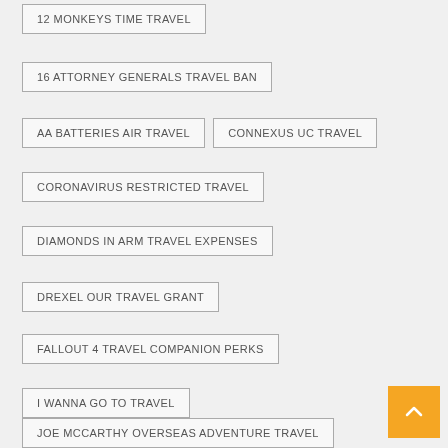12 MONKEYS TIME TRAVEL
16 ATTORNEY GENERALS TRAVEL BAN
AA BATTERIES AIR TRAVEL
CONNEXUS UC TRAVEL
CORONAVIRUS RESTRICTED TRAVEL
DIAMONDS IN ARM TRAVEL EXPENSES
DREXEL OUR TRAVEL GRANT
FALLOUT 4 TRAVEL COMPANION PERKS
I WANNA GO TO TRAVEL
JOE MCCARTHY OVERSEAS ADVENTURE TRAVEL